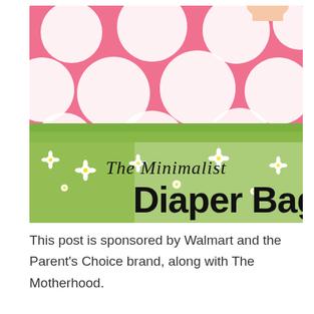[Figure (photo): A pink polka-dot diaper bag held by a baby/toddler over a field of daisies and green grass. Text overlay reads 'The Minimalist Diaper Bag' in script and bold fonts.]
This post is sponsored by Walmart and the Parent's Choice brand, along with The Motherhood.